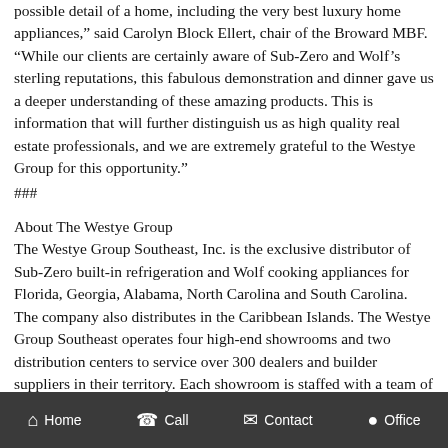possible detail of a home, including the very best luxury home appliances," said Carolyn Block Ellert, chair of the Broward MBF. "While our clients are certainly aware of Sub-Zero and Wolf's sterling reputations, this fabulous demonstration and dinner gave us a deeper understanding of these amazing products. This is information that will further distinguish us as high quality real estate professionals, and we are extremely grateful to the Westye Group for this opportunity."
###
About The Westye Group
The Westye Group Southeast, Inc. is the exclusive distributor of Sub-Zero built-in refrigeration and Wolf cooking appliances for Florida, Georgia, Alabama, North Carolina and South Carolina. The company also distributes in the Caribbean Islands. The Westye Group Southeast operates four high-end showrooms and two distribution centers to service over 300 dealers and builder suppliers in their territory. Each showroom is staffed with a team of appliance specialists to assist consumers, designers, architects and builders.
Home | Call | Contact | Office